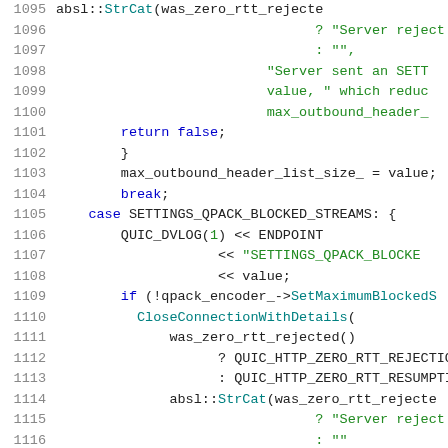[Figure (screenshot): Source code snippet showing C++ code lines 1095-1116 with syntax highlighting. Line numbers in gray on the left, keywords in blue, string literals in green, function calls in teal/purple, plain code in dark gray.]